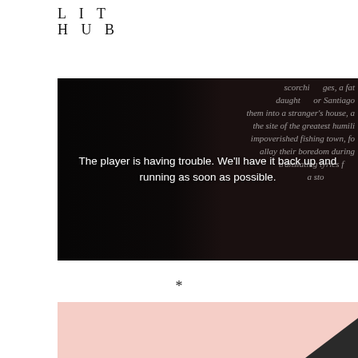LIT HUB
[Figure (screenshot): A media player showing a book page photograph (dark background with italic serif text from a book visible), overlaid with a white error message: 'The player is having trouble. We'll have it back up and running as soon as possible.']
*
[Figure (photo): Bottom portion of an image with a pale pink/blush background and a dark diagonal element in the bottom right corner.]